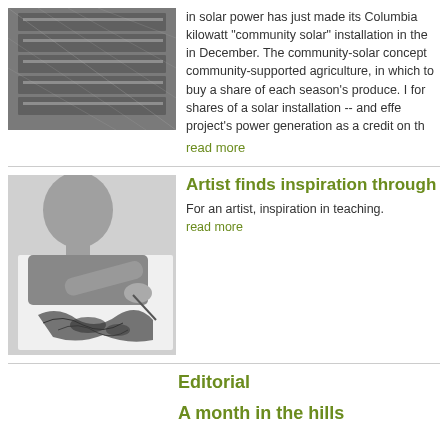[Figure (photo): Close-up of solar panels, grayscale]
in solar power has just made its Columbia kilowatt "community solar" installation in the in December. The community-solar concept community-supported agriculture, in which to buy a share of each season's produce. I for shares of a solar installation -- and effe project's power generation as a credit on th read more
[Figure (photo): Black and white photo of an artist drawing a map]
Artist finds inspiration through
For an artist, inspiration in teaching.
read more
Editorial
A month in the hills